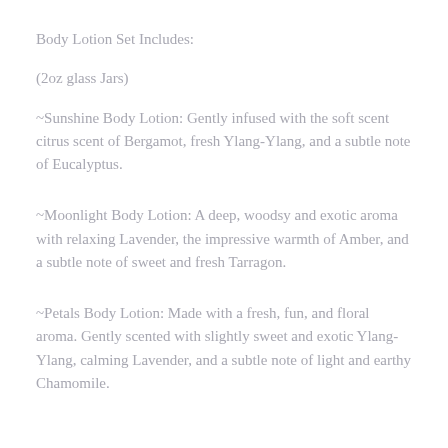Body Lotion Set Includes:
(2oz glass Jars)
~Sunshine Body Lotion: Gently infused with the soft scent citrus scent of Bergamot, fresh Ylang-Ylang, and a subtle note of Eucalyptus.
~Moonlight Body Lotion: A deep, woodsy and exotic aroma with relaxing Lavender, the impressive warmth of Amber, and a subtle note of sweet and fresh Tarragon.
~Petals Body Lotion: Made with a fresh, fun, and floral aroma. Gently scented with slightly sweet and exotic Ylang-Ylang, calming Lavender, and a subtle note of light and earthy Chamomile.